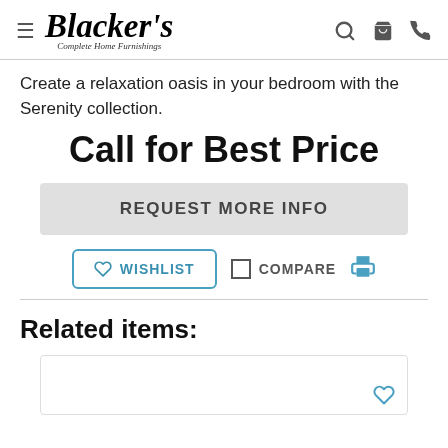Blacker's Complete Home Furnishings
Create a relaxation oasis in your bedroom with the Serenity collection.
Call for Best Price
REQUEST MORE INFO
WISHLIST  COMPARE
Related items: